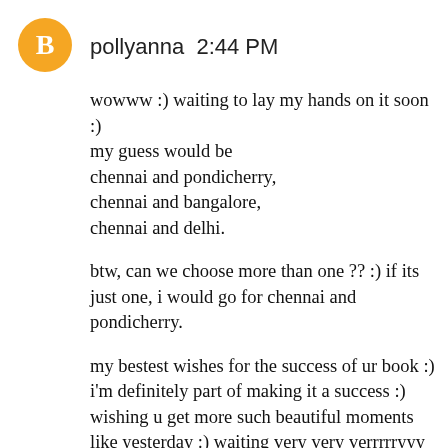[Figure (logo): Orange circle with white Blogger 'B' icon]
pollyanna  2:44 PM
wowww :) waiting to lay my hands on it soon :)
my guess would be
chennai and pondicherry,
chennai and bangalore,
chennai and delhi.

btw, can we choose more than one ?? :) if its just one, i would go for chennai and pondicherry.

my bestest wishes for the success of ur book :) i'm definitely part of making it a success :) wishing u get more such beautiful moments like yesterday :) waiting very very verrrrryyy eagerly for the release as well as to meet u(hopefully)

please do announce a launch in chennai or pondicherry. wanna get the other 3 books